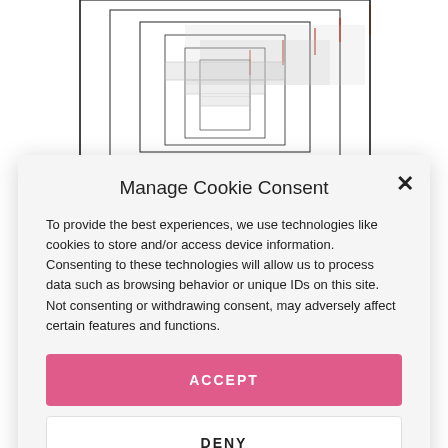[Figure (screenshot): Abstract nested rectangle pattern with black and red lines on white background, visible behind the cookie consent modal.]
Manage Cookie Consent
To provide the best experiences, we use technologies like cookies to store and/or access device information. Consenting to these technologies will allow us to process data such as browsing behavior or unique IDs on this site. Not consenting or withdrawing consent, may adversely affect certain features and functions.
ACCEPT
DENY
VIEW PREFERENCES
Cookie Policy · Privacy Policy